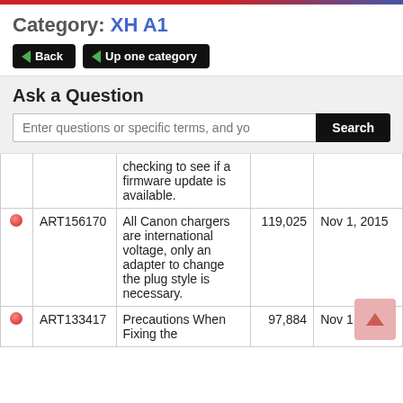Category: XH A1
Back | Up one category
Ask a Question
Enter questions or specific terms, and yo  Search
|  | Article | Description | Views | Date |
| --- | --- | --- | --- | --- |
| ● |  | checking to see if a firmware update is available. |  |  |
| ● | ART156170 | All Canon chargers are international voltage, only an adapter to change the plug style is necessary. | 119,025 | Nov 1, 2015 |
| ● | ART133417 | Precautions When Fixing the | 97,884 | Nov 1, 2015 |